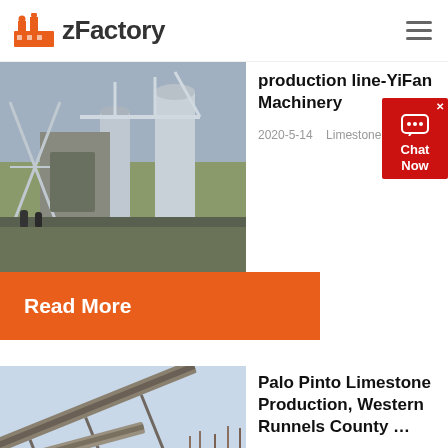zFactory
production line-YiFan Machinery
2020-5-14   Limestone stone ...
Read More
[Figure (photo): Industrial machinery/plant production line with silos and equipment]
[Figure (other): Chat Now widget overlay]
[Figure (photo): Conveyor belt system at limestone quarry in winter/snowy setting]
Palo Pinto Limestone Production, Western Runnels County ...
The Late Pennsylvanian Palo Pi...